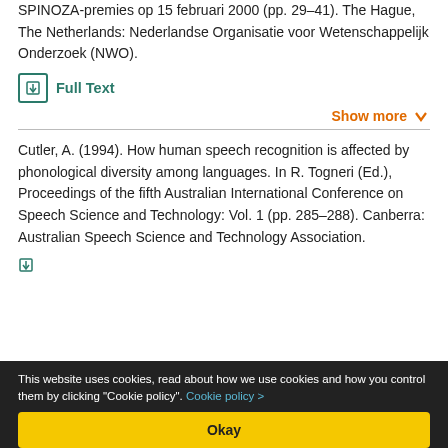SPINOZA-premies op 15 februari 2000 (pp. 29–41). The Hague, The Netherlands: Nederlandse Organisatie voor Wetenschappelijk Onderzoek (NWO).
Full Text
Show more
Cutler, A. (1994). How human speech recognition is affected by phonological diversity among languages. In R. Togneri (Ed.), Proceedings of the fifth Australian International Conference on Speech Science and Technology: Vol. 1 (pp. 285–288). Canberra: Australian Speech Science and Technology Association.
Full Text (partial, cut off)
This website uses cookies, read about how we use cookies and how you control them by clicking "Cookie policy". Cookie policy > Okay